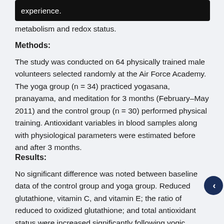experience.
metabolism and redox status.
Methods:
The study was conducted on 64 physically trained male volunteers selected randomly at the Air Force Academy. The yoga group (n = 34) practiced yogasana, pranayama, and meditation for 3 months (February–May 2011) and the control group (n = 30) performed physical training. Antioxidant variables in blood samples along with physiological parameters were estimated before and after 3 months.
Results:
No significant difference was noted between baseline data of the control group and yoga group. Reduced glutathione, vitamin C, and vitamin E; the ratio of reduced to oxidized glutathione; and total antioxidant status were increased significantly following yogic practice